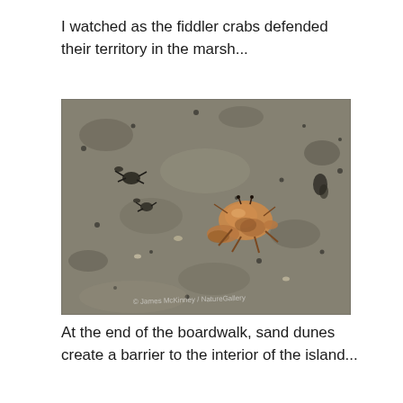I watched as the fiddler crabs defended their territory in the marsh...
[Figure (photo): A close-up photograph of fiddler crabs on sandy/muddy marsh ground. A larger crab with an orange/tan shell is visible in the center-right, and smaller dark crabs are visible to the left. The ground is grayish-brown sand/mud with small holes and rocks. A faint watermark/copyright text is visible at the bottom of the image.]
At the end of the boardwalk, sand dunes create a barrier to the interior of the island...